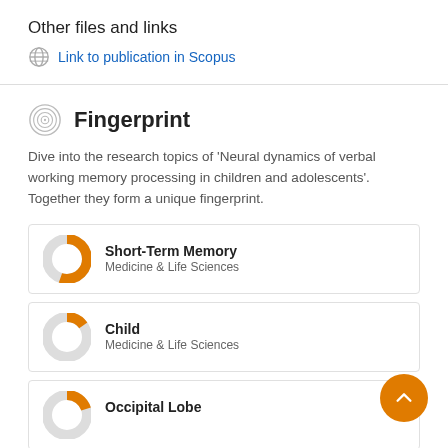Other files and links
Link to publication in Scopus
Fingerprint
Dive into the research topics of 'Neural dynamics of verbal working memory processing in children and adolescents'. Together they form a unique fingerprint.
[Figure (infographic): Donut chart icon for Short-Term Memory topic, approximately 80% fill orange]
Short-Term Memory
Medicine & Life Sciences
[Figure (infographic): Donut chart icon for Child topic, approximately 40% fill orange]
Child
Medicine & Life Sciences
[Figure (infographic): Donut chart icon for Occipital Lobe topic, approximately 45% fill orange]
Occipital Lobe
Medicine & Life Sciences